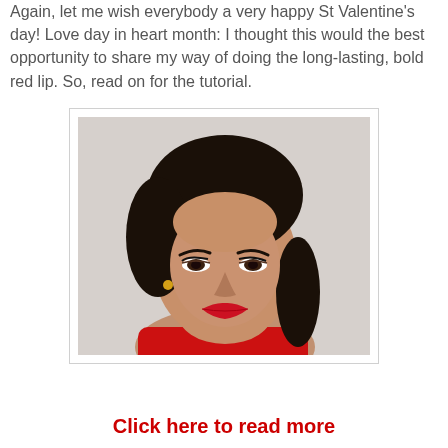Again, let me wish everybody a very happy St Valentine's day! Love day in heart month: I thought this would the best opportunity to share my way of doing the long-lasting, bold red lip. So, read on for the tutorial.
[Figure (photo): Portrait photo of a young woman with dark hair in a braid, wearing red lipstick and a red top, looking downward, with gold earring visible.]
Click here to read more